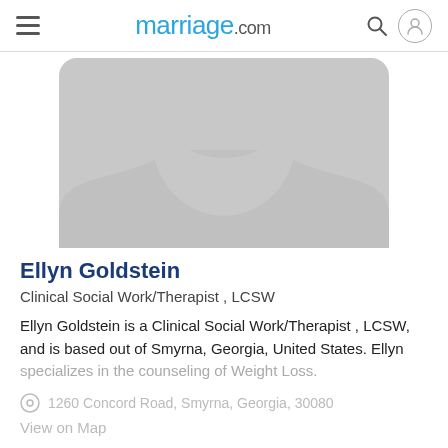marriage.com
[Figure (illustration): Generic grey silhouette avatar placeholder image showing head and shoulders of a person]
Ellyn Goldstein
Clinical Social Work/Therapist , LCSW
Ellyn Goldstein is a Clinical Social Work/Therapist , LCSW, and is based out of Smyrna, Georgia, United States. Ellyn specializes in the counseling of Weight Loss.
1260 Concord Road, Smyrna, Georgia, 30080
View on Map